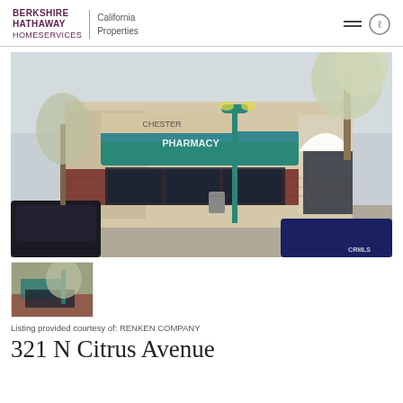BERKSHIRE HATHAWAY HomeServices | California Properties
[Figure (photo): Exterior photo of a retail strip mall with a pharmacy (Chester Pharmacy) featuring a teal awning, brick facade, white arched entrance, and a teal street lamp in front. Trees visible on right side. Cars parked in front.]
[Figure (photo): Small thumbnail image of the same retail property exterior from a slightly different angle.]
Listing provided courtesy of: RENKEN COMPANY
321 N Citrus Avenue